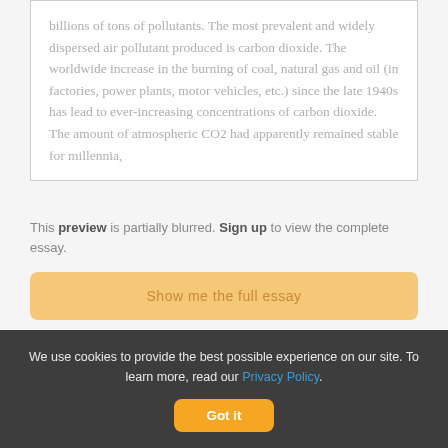billions of tons of pollutants. The most prevalent and widely dispersed air pollutant produced is carbon dioxide. The worldwide increase in the burning of coal, natural gas and oil (in factories, power plants, motor vehicles, etc.) since the late 1940s has lead to ever-increasing concentrations of carbon dioxide. The amount of atmospheric CO2 had apparently remained stable for millennia,
This preview is partially blurred. Sign up to view the complete essay.
Show me the full essay
More essays like this:
environmental problems, environmental threats
We use cookies to provide the best possible experience on our site. To learn more, read our Privacy Policy.
Got it